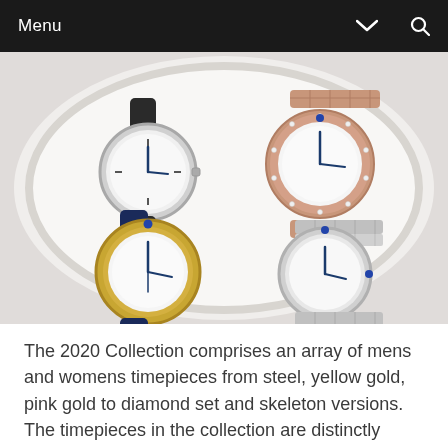Menu
[Figure (photo): Four Cartier Pasha de Cartier watches arranged on a large white ceramic plate. Top left: steel watch with black leather strap. Top right: pink gold watch with diamond bezel and bracelet. Bottom left: yellow gold watch with navy blue leather strap. Bottom right: steel watch with steel bracelet.]
The 2020 Collection comprises an array of mens and womens timepieces from steel, yellow gold, pink gold to diamond set and skeleton versions. The timepieces in the collection are distinctly characterised by their uniquely shaped 35mm and 41mm round